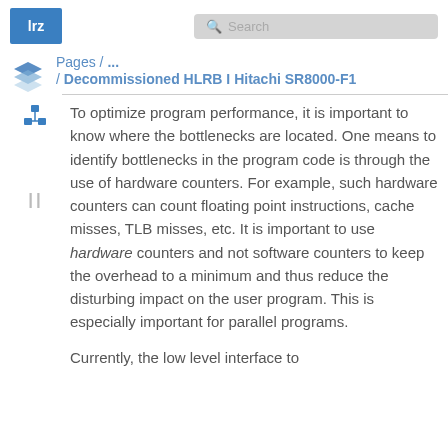lrz   Search
Pages / ...
/ Decommissioned HLRB I Hitachi SR8000-F1
To optimize program performance, it is important to know where the bottlenecks are located. One means to identify bottlenecks in the program code is through the use of hardware counters. For example, such hardware counters can count floating point instructions, cache misses, TLB misses, etc. It is important to use hardware counters and not software counters to keep the overhead to a minimum and thus reduce the disturbing impact on the user program. This is especially important for parallel programs.

Currently, the low level interface to